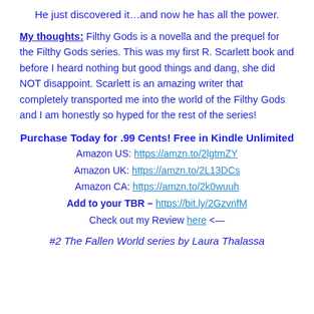He just discovered it…and now he has all the power.
My thoughts: Filthy Gods is a novella and the prequel for the Filthy Gods series. This was my first R. Scarlett book and before I heard nothing but good things and dang, she did NOT disappoint. Scarlett is an amazing writer that completely transported me into the world of the Filthy Gods and I am honestly so hyped for the rest of the series!
Purchase Today for .99 Cents! Free in Kindle Unlimited
Amazon US: https://amzn.to/2lgtmZY
Amazon UK: https://amzn.to/2L13DCs
Amazon CA: https://amzn.to/2k0wuuh
Add to your TBR – https://bit.ly/2GzvnfM
Check out my Review here <—
#2 The Fallen World series by Laura Thalassa